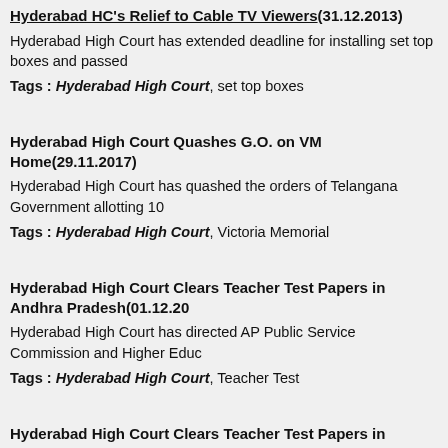Hyderabad HC's Relief to Cable TV Viewers(31.12.2013)
Hyderabad High Court has extended deadline for installing set top boxes and passed
Tags : Hyderabad High Court, set top boxes
Hyderabad High Court Quashes G.O. on VM Home(29.11.2017)
Hyderabad High Court has quashed the orders of Telangana Government allotting 10
Tags : Hyderabad High Court, Victoria Memorial
Hyderabad High Court Clears Teacher Test Papers in Andhra Pradesh(01.12.20
Hyderabad High Court has directed AP Public Service Commission and Higher Educ
Tags : Hyderabad High Court, Teacher Test
Hyderabad High Court Clears Teacher Test Papers in Andhra Pradesh(01.12.20
Hyderabad High Court has directed AP Public Service Commission and Higher Educ
Tags : Hyderabad High Court, Teacher Test